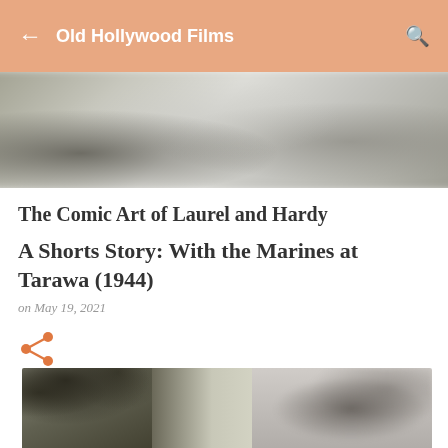Old Hollywood Films
[Figure (photo): Blurred grayscale hero banner image at top of article]
The Comic Art of Laurel and Hardy
A Shorts Story: With the Marines at Tarawa (1944)
on May 19, 2021
[Figure (illustration): Share icon (orange/salmon colored share/forward symbol)]
[Figure (photo): Black and white photograph showing palm trees and smoke, likely from the Battle of Tarawa (1943)]